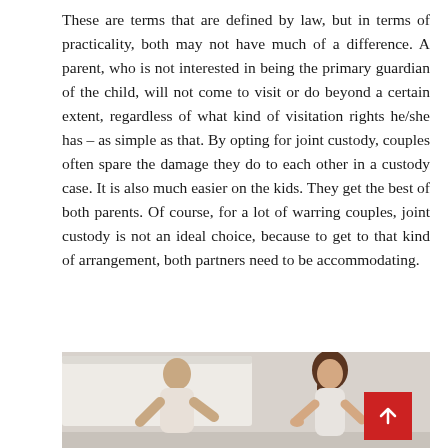These are terms that are defined by law, but in terms of practicality, both may not have much of a difference. A parent, who is not interested in being the primary guardian of the child, will not come to visit or do beyond a certain extent, regardless of what kind of visitation rights he/she has – as simple as that. By opting for joint custody, couples often spare the damage they do to each other in a custody case. It is also much easier on the kids. They get the best of both parents. Of course, for a lot of warring couples, joint custody is not an ideal choice, because to get to that kind of arrangement, both partners need to be accommodating.
[Figure (photo): A man and a woman appear to be in an argument or discussion, standing indoors near a whiteboard or wall. The man is on the left wearing a light-colored polo shirt, and the woman is on the right with long dark hair wearing a light top. A red 'back to top' button is overlaid in the bottom-right corner of the image.]